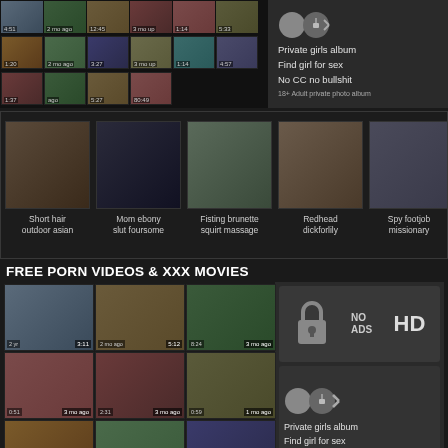[Figure (screenshot): Grid of adult video thumbnails in top row]
[Figure (screenshot): Advertisement panel with lock icon, NO ADS, HD text, Private girls album promotional content]
[Figure (screenshot): Carousel of adult video thumbnails with labels: Short hair outdoor asian, Mom ebony slut foursome, Fisting brunette squirt massage, Redhead dickforlily, Spy footjob missionary]
FREE PORN VIDEOS & XXX MOVIES
[Figure (screenshot): Grid of adult video thumbnails in bottom section]
[Figure (screenshot): Advertisement panel with NO ADS HD badge and lock icon, Private girls album promotional content]